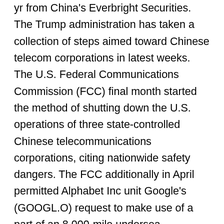yr from China's Everbright Securities. The Trump administration has taken a collection of steps aimed toward Chinese telecom corporations in latest weeks. The U.S. Federal Communications Commission (FCC) final month started the method of shutting down the U.S. operations of three state-controlled Chinese telecommunications corporations, citing nationwide safety dangers. The FCC additionally in April permitted Alphabet Inc unit Google's (GOOGL.O) request to make use of a part of an 8,000-mile undersea telecommunications cable between the United States and Taiwan, however not Hong Kong, after U.S. businesses raised nationwide safety considerations. This week, President Donald Trump prolonged for one more yr a May 2019 government order barring U.S. corporations from utilizing telecommunications tools made by corporations deemed to pose a nationwide safety threat, a transfer seen aimed toward Huawei and peer ZTE Corp. Reporting by David Shepardson and Karen